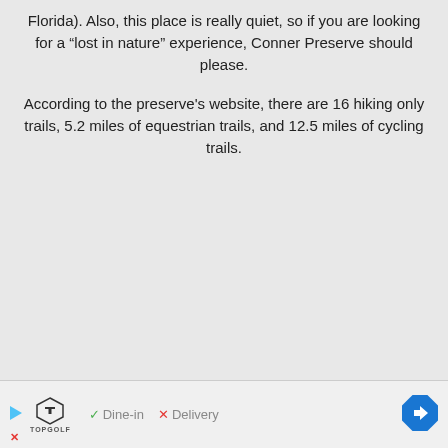Florida). Also, this place is really quiet, so if you are looking for a “lost in nature” experience, Conner Preserve should please.
According to the preserve's website, there are 16 hiking only trails, 5.2 miles of equestrian trails, and 12.5 miles of cycling trails.
[Figure (other): Advertisement banner for TopGolf showing play icon, TopGolf logo, checkmark with Dine-in, X with Delivery, and a blue navigation arrow icon.]